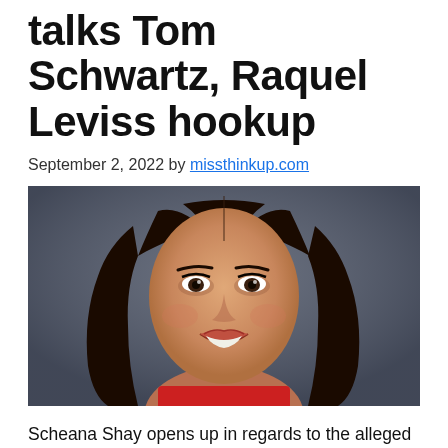talks Tom Schwartz, Raquel Leviss hookup
September 2, 2022 by missthinkup.com
[Figure (photo): Portrait photo of Scheana Shay, a woman with long dark hair, smiling at the camera against a dark grey background]
Scheana Shay opens up in regards to the alleged hookup of Vanderpump Guidelines